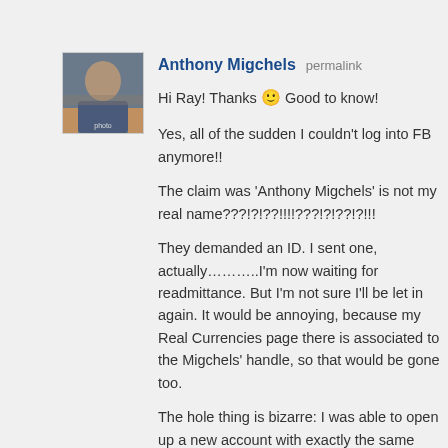[Figure (photo): Avatar photo of Anthony Migchels, a man in front of bookshelves]
Anthony Migchels permalink
Hi Ray! Thanks 🙂 Good to know!
Yes, all of the sudden I couldn't log into FB anymore!!
The claim was 'Anthony Migchels' is not my real name???!?!??!!!!???!?!??!?!!!
They demanded an ID. I sent one, actually………..I'm now waiting for readmittance. But I'm not sure I'll be let in again. It would be annoying, because my Real Currencies page there is associated to the 'Anthony Migchels' handle, so that would be gone too.
The hole thing is bizarre: I was able to open up a new account with exactly the same name!
Hopefully they'll just see the folly of their ways, but I'm not holding my breath. I'm thinking this might actually be a roundabout way to ban me there.
Reply